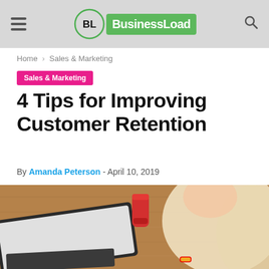BusinessLoad
Home › Sales & Marketing
Sales & Marketing
4 Tips for Improving Customer Retention
By Amanda Peterson - April 10, 2019
[Figure (photo): Blonde woman working on a laptop on a wooden surface with a red soda can nearby]